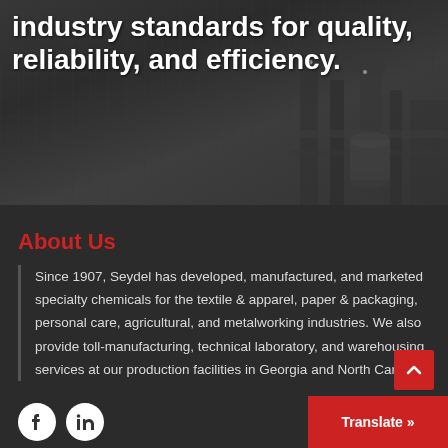[Figure (photo): Black and white aerial/industrial photo of a chemical or oil refinery facility with towers, pipes, and industrial equipment, overlaid with large white bold text.]
industry standards for quality, reliability, and efficiency.
About Us
Since 1907, Seydel has developed, manufactured, and marketed specialty chemicals for the textile & apparel, paper & packaging, personal care, agricultural, and metalworking industries. We also provide toll-manufacturing, technical laboratory, and warehousing services at our production facilities in Georgia and North Carolina.